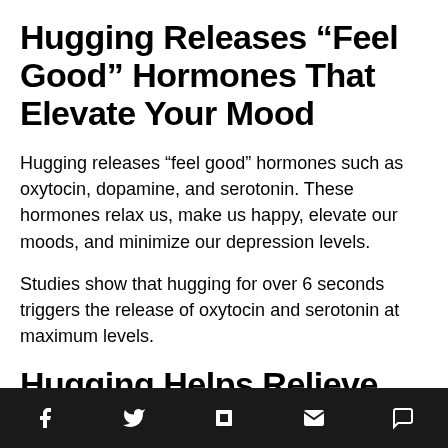Hugging Releases “Feel Good” Hormones That Elevate Your Mood
Hugging releases “feel good” hormones such as oxytocin, dopamine, and serotonin. These hormones relax us, make us happy, elevate our moods, and minimize our depression levels.
Studies show that hugging for over 6 seconds triggers the release of oxytocin and serotonin at maximum levels.
Hugging Helps Relieve You
Social share icons: Facebook, Twitter, Flipboard, Email, Comment